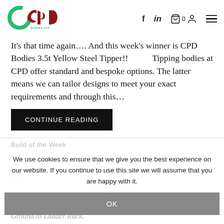[Figure (logo): CPD Bodies Ltd logo with green circle C and red/dark arch shapes]
It's that time again.... And this week's winner is CPD Bodies 3.5t Yellow Steel Tipper!!           Tipping bodies at CPD offer standard and bespoke options. The latter means we can tailor designs to meet your exact requirements and through this...
CONTINUE READING
Build of the Week
It's the last Friday of the month and this weeks build of the week goes to.... CPD Bodies Alloy, Double Drop Dropside!
We use cookies to ensure that we give you the best experience on our website. If you continue to use this site we will assume that you are happy with it.
OK
Ground to Ladder Rack.